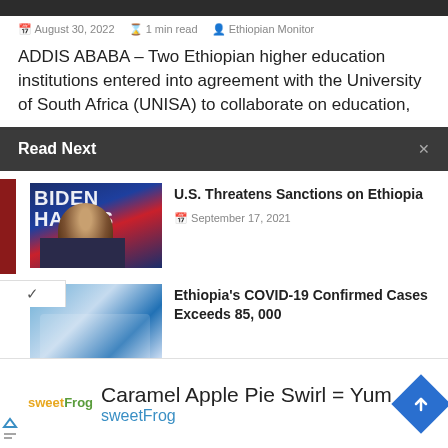August 30, 2022 | 1 min read | Ethiopian Monitor
ADDIS ABABA – Two Ethiopian higher education institutions entered into agreement with the University of South Africa (UNISA) to collaborate on education,
Read Next
[Figure (photo): Biden Harris campaign photo - man at podium with Biden Harris signage]
U.S. Threatens Sanctions on Ethiopia
September 17, 2021
[Figure (photo): People wearing masks - COVID related photo]
Ethiopia's COVID-19 Confirmed Cases Exceeds 85, 000
Caramel Apple Pie Swirl = Yum
sweetFrog